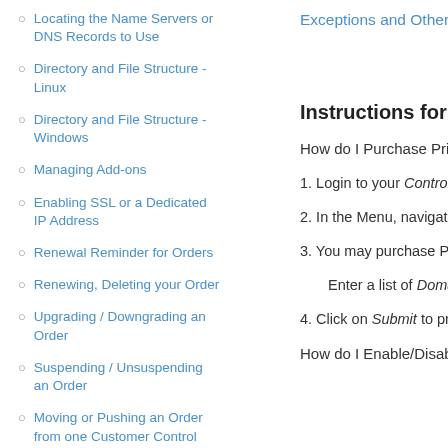Locating the Name Servers or DNS Records to Use
Directory and File Structure - Linux
Directory and File Structure - Windows
Managing Add-ons
Enabling SSL or a Dedicated IP Address
Renewal Reminder for Orders
Renewing, Deleting your Order
Upgrading / Downgrading an Order
Suspending / Unsuspending an Order
Moving or Pushing an Order from one Customer Control Panel to another
— Bulk Actions
Registering Domain Names in Bulk
Exceptions and Other Cond…
Instructions for Custo…
How do I Purchase Priv…
1. Login to your Control Pa…
2. In the Menu, navigate to…
3. You may purchase Priva…
Enter a list of Domain Na…
4. Click on Submit to proce…
How do I Enable/Disab…